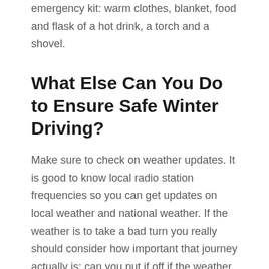emergency kit: warm clothes, blanket, food and flask of a hot drink, a torch and a shovel.
What Else Can You Do to Ensure Safe Winter Driving?
Make sure to check on weather updates. It is good to know local radio station frequencies so you can get updates on local weather and national weather. If the weather is to take a bad turn you really should consider how important that journey actually is: can you put if off if the weather is going to be bad?